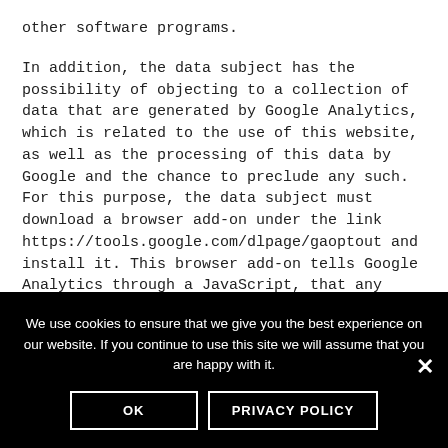other software programs.
In addition, the data subject has the possibility of objecting to a collection of data that are generated by Google Analytics, which is related to the use of this website, as well as the processing of this data by Google and the chance to preclude any such. For this purpose, the data subject must download a browser add-on under the link https://tools.google.com/dlpage/gaoptout and install it. This browser add-on tells Google Analytics through a JavaScript, that any data and information about the visits of Internet pages may not be transmitted to Google Analytics. The installation of the
We use cookies to ensure that we give you the best experience on our website. If you continue to use this site we will assume that you are happy with it.